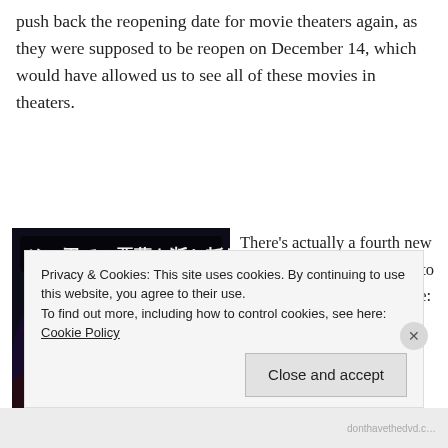push back the reopening date for movie theaters again, as they were supposed to be reopen on December 14, which would have allowed us to see all of these movies in theaters.
[Figure (illustration): Anime movie poster for Demon Slayer with Japanese text reading 'その刃で、悪夢を断ち斬れ' and colorful action characters on a dark background.]
There's actually a fourth new movie in theaters we'd like to see that we did preview (see: FIRST LOOK: Demon Slayer:
Privacy & Cookies: This site uses cookies. By continuing to use this website, you agree to their use.
To find out more, including how to control cookies, see here: Cookie Policy
Close and accept